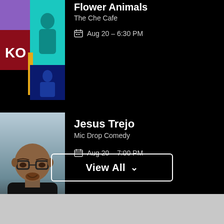Flower Animals
The Che Cafe
Aug 20 – 6:30 PM
[Figure (photo): Collage thumbnail of Flower Animals event: purple top-left cell, teal musician photo top-right, dark red bottom-left with album art, gold accent bar, dark blue bottom-right]
Jesus Trejo
Mic Drop Comedy
Aug 20 – 7:00 PM
[Figure (photo): Headshot of Jesus Trejo, a bald man wearing black-rimmed glasses and a black shirt, smiling, against a gradient blue-grey background]
View All